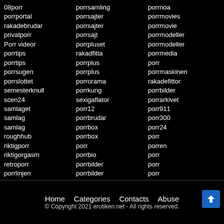Column 1: 08porr, porrportal, rakadebrudar, privatporr, Porr videor, porrtips, porrtips, porrsugen, porrslottet, semesterknull, scen24, samlaget, samlag, samlag, roughhub, riktigporr, riktigorgasm, retroporr, porrlinjen
Column 2: porrsamling, porrsajter, porrsajter, porrsajt, porrpluset, rakadfitta, porrplus, porrplus, porrorama, porrkung, sexigaflator, porr12, porrbrudar, porrbox, porrbox, porr, porrbio, porrbilder, porrbilder
Column 3: porrnoa, porrmovies, porrmovie, porrmodeller, porrmodeller, porrmedia, porr, porrmaskinen, rakadefittor, porrbilder, porrarkivet, porr911, porr300, porr24, porr, porren, porr, porr, porr
Home   Categories   Contacts   Abuse
© Copyright 2021 erotiken.net - All rights reserved.